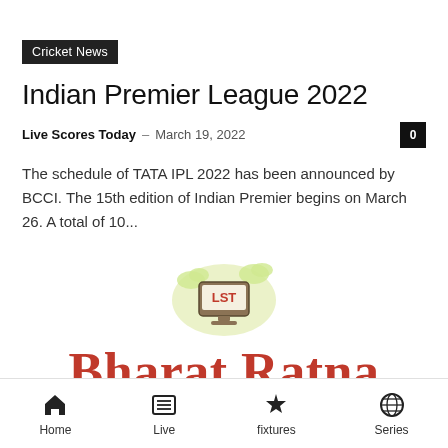Cricket News
Indian Premier League 2022
Live Scores Today – March 19, 2022   0
The schedule of TATA IPL 2022 has been announced by BCCI. The 15th edition of Indian Premier begins on March 26. A total of 10...
[Figure (logo): LST logo - a computer monitor with 'LST' text and cloud graphics on a light green oval background]
Bharat Ratna
Shri Atal Bihari Vajpayee
Home  Live  fixtures  Series